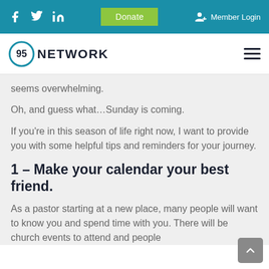95 Network — social icons, Donate, Member Login
95 NETWORK — navigation bar with hamburger menu
seems overwhelming.
Oh, and guess what…Sunday is coming.
If you're in this season of life right now, I want to provide you with some helpful tips and reminders for your journey.
1 – Make your calendar your best friend.
As a pastor starting at a new place, many people will want to know you and spend time with you. There will be church events to attend and people